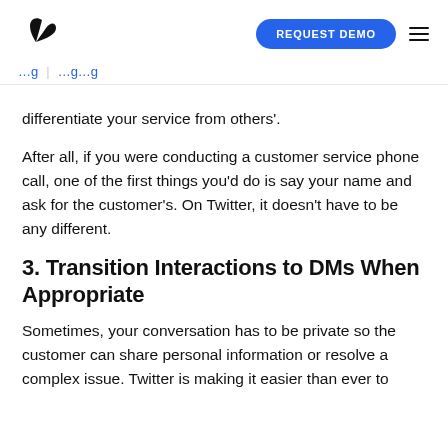REQUEST DEMO
differentiate your service from others'.
After all, if you were conducting a customer service phone call, one of the first things you'd do is say your name and ask for the customer's. On Twitter, it doesn't have to be any different.
3. Transition Interactions to DMs When Appropriate
Sometimes, your conversation has to be private so the customer can share personal information or resolve a complex issue. Twitter is making it easier than ever to